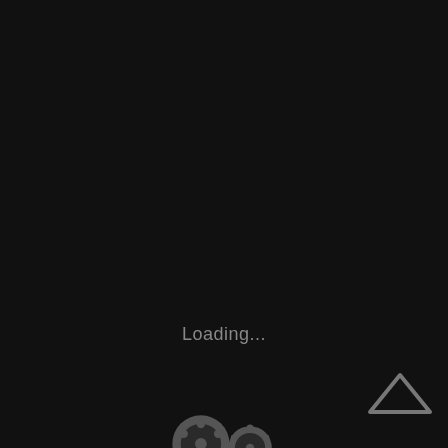[Figure (illustration): A dark-themed video loading screen showing a vintage movie camera icon in gray on a black background, with 'Loading...' text below the icon, and a triangle/play button outline in the bottom-right corner.]